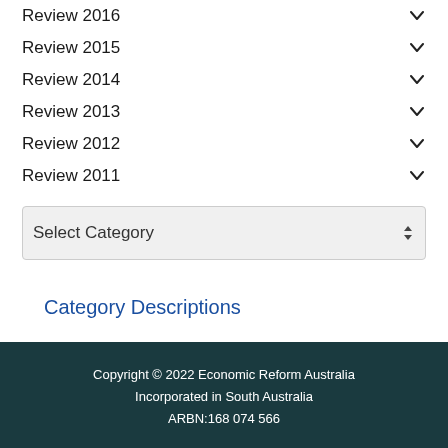Review 2016
Review 2015
Review 2014
Review 2013
Review 2012
Review 2011
Select Category
Category Descriptions
Copyright © 2022 Economic Reform Australia
Incorporated in South Australia
ARBN:168 074 566